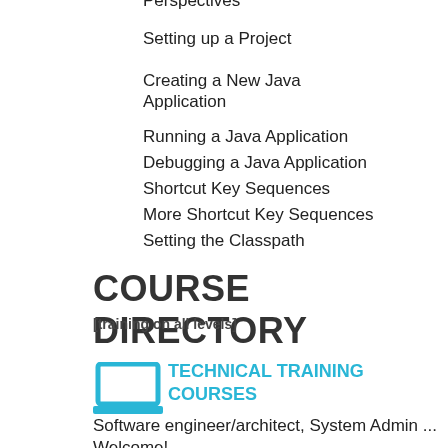Perspectives
Setting up a Project
Creating a New Java Application
Running a Java Application
Debugging a Java Application
Shortcut Key Sequences
More Shortcut Key Sequences
Setting the Classpath
Importing Existing Java Code into Eclipse
COURSE DIRECTORY
[training on all levels]
[Figure (illustration): Laptop computer icon in cyan/blue color]
TECHNICAL TRAINING COURSES
Software engineer/architect, System Admin ... Welcome!